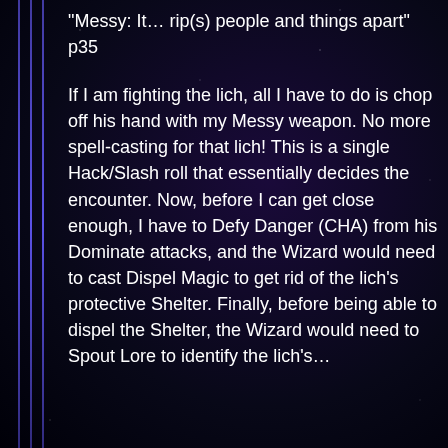“Messy: It… rip(s) people and things apart” p35
If I am fighting the lich, all I have to do is chop off his hand with my Messy weapon. No more spell-casting for that lich! This is a single Hack/Slash roll that essentially decides the encounter. Now, before I can get close enough, I have to Defy Danger (CHA) from his Dominate attacks, and the Wizard would need to cast Dispel Magic to get rid of the lich’s protective Shelter. Finally, before being able to dispel the Shelter, the Wizard would need to Spout Lore to identify the lich’s…